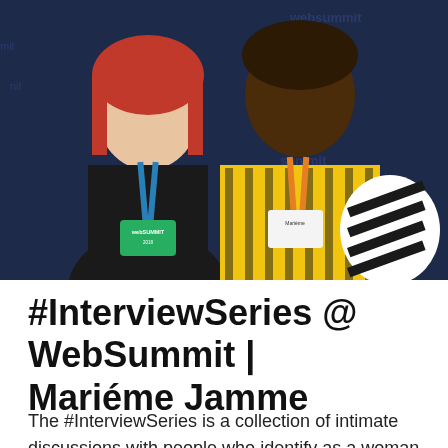[Figure (photo): Two women posing for a photo at WebSummit. The woman on the left has red/auburn hair, wears a black top and a blue WebSummit lanyard with a green badge reading 'WebSummit 2018'. The woman on the right is taller, wearing a yellow patterned dress and an orange lanyard with a name badge. The background is a dark blue WebSummit branded banner with 'websummit' text repeated.]
#InterviewSeries @ WebSummit | Mariéme Jamme
The #InterviewSeries is a collection of intimate discussions with people who identify as a woman or a non-binary person in the technical & digital spaces. Back in November I took the #InterviewSeries to